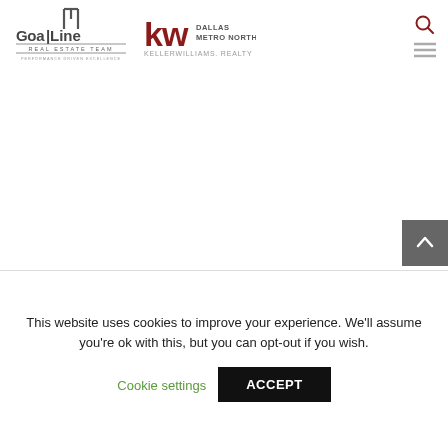[Figure (logo): GoalLine Real Estate Team logo with football goalpost icon and text 'GoalLine REAL ESTATE TEAM — PERFORMANCE DRIVEN EXCELLENCE']
[Figure (logo): Keller Williams Dallas Metro North logo with KW monogram and text 'DALLAS METRO NORTH KELLERWILLIAMS. REALTY']
This website uses cookies to improve your experience. We'll assume you're ok with this, but you can opt-out if you wish.
Cookie settings
ACCEPT